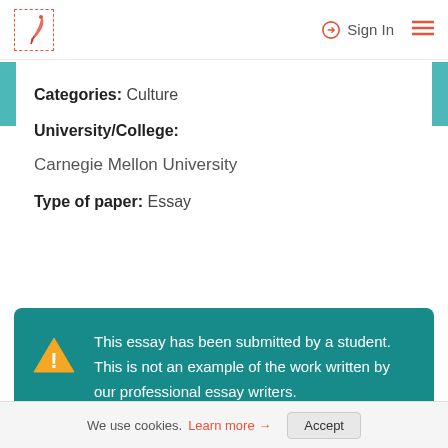[Figure (logo): Quill pen logo in red/orange inside dashed red border frame, with Sign In button and hamburger menu on the right]
Categories: Culture
University/College:
Carnegie Mellon University
Type of paper: Essay
This essay has been submitted by a student. This is not an example of the work written by our professional essay writers.
We use cookies. Learn more → Accept